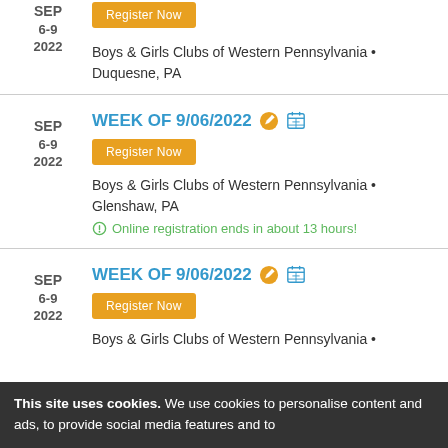6-9
2022
Register Now
Boys & Girls Clubs of Western Pennsylvania • Duquesne, PA
WEEK OF 9/06/2022
Register Now
Boys & Girls Clubs of Western Pennsylvania • Glenshaw, PA
Online registration ends in about 13 hours!
WEEK OF 9/06/2022
Register Now
Boys & Girls Clubs of Western Pennsylvania •
This site uses cookies. We use cookies to personalise content and ads, to provide social media features and to